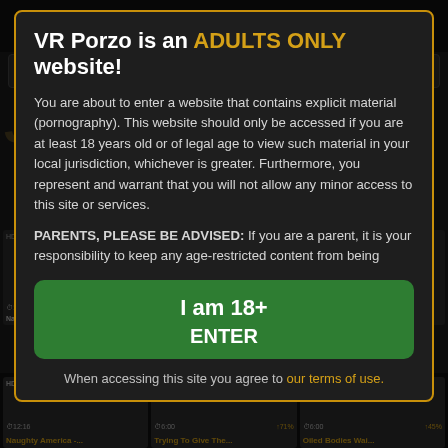[Figure (screenshot): Background of VR Porzo website showing dark interface with video thumbnails, search bar, and navigation partially visible behind the age verification modal]
VR Porzo is an ADULTS ONLY website!
You are about to enter a website that contains explicit material (pornography). This website should only be accessed if you are at least 18 years old or of legal age to view such material in your local jurisdiction, whichever is greater. Furthermore, you represent and warrant that you will not allow any minor access to this site or services.

PARENTS, PLEASE BE ADVISED: If you are a parent, it is your responsibility to keep any age-restricted content from being
I am 18+
ENTER
When accessing this site you agree to our terms of use.